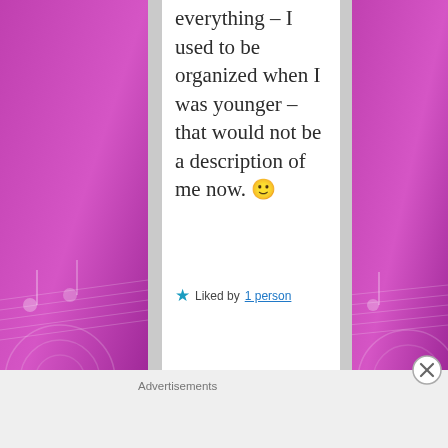[Figure (illustration): Purple decorative side panels with music note and swirl patterns on left and right sides of page]
everything – I used to be organized when I was younger – that would not be a description of me now. 🙂
★ Liked by 1 person
Advertisements